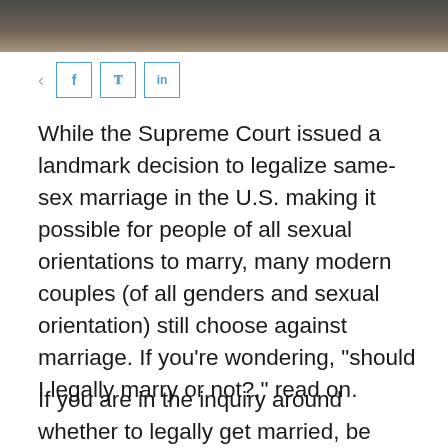[Figure (photo): Partial photo strip at top of page showing a dark and tan background image]
[Figure (infographic): Social sharing bar with share icon and three buttons: Facebook (f), Twitter (bird), LinkedIn (in)]
While the Supreme Court issued a landmark decision to legalize same-sex marriage in the U.S. making it possible for people of all sexual orientations to marry, many modern couples (of all genders and sexual orientation) still choose against marriage. If you're wondering, "should I legally marry or not?," read on.
If you are in the inquiry around whether to legally get married, be sure to consider these